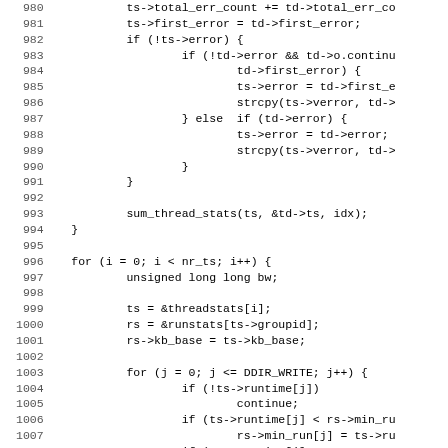[Figure (screenshot): Source code listing in monospace font showing C code lines 980-1011, with line numbers on the left and code on the right. Code includes thread stats aggregation and loop logic.]